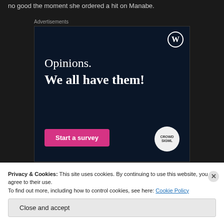no good the moment she ordered a hit on Manabe.
Advertisements
[Figure (screenshot): WordPress advertisement banner with dark navy background showing 'Opinions. We all have them!' text, a WordPress logo, a pink 'Start a survey' button, and a Crowd Signal circular logo.]
Privacy & Cookies: This site uses cookies. By continuing to use this website, you agree to their use.
To find out more, including how to control cookies, see here: Cookie Policy
Close and accept